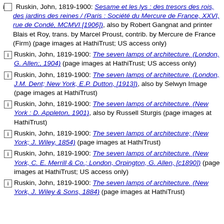Ruskin, John, 1819-1900: Sesame et les lys : des tresors des rois, des jardins des reines / (Paris : Société du Mercure de France, XXVI, rue de Condé, MCMVI [1906]), also by Robert Gangnat and printer Blais et Roy, trans. by Marcel Proust, contrib. by Mercure de France (Firm) (page images at HathiTrust; US access only)
Ruskin, John, 1819-1900: The seven lamps of architecture. (London, G. Allen;, 1904) (page images at HathiTrust; US access only)
Ruskin, John, 1819-1900: The seven lamps of architecture. (London, J.M. Dent; New York, E.P. Dutton, [1913]), also by Selwyn Image (page images at HathiTrust)
Ruskin, John, 1819-1900: The seven lamps of architecture. (New York : D. Appleton, 1901), also by Russell Sturgis (page images at HathiTrust)
Ruskin, John, 1819-1900: The seven lamps of architecture; (New York; J. Wiley, 1854) (page images at HathiTrust)
Ruskin, John, 1819-1900: The seven lamps of architecture. (New York, C. E. Merrill & Co.; London, Orpington, G. Allen, [c1890]) (page images at HathiTrust; US access only)
Ruskin, John, 1819-1900: The seven lamps of architecture. (New York, J. Wiley & Sons, 1884) (page images at HathiTrust)